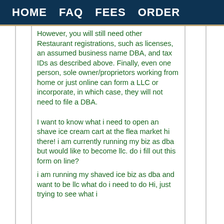HOME   FAQ   FEES   ORDER
However, you will still need other Restaurant registrations, such as licenses, an assumed business name DBA, and tax IDs as described above. Finally, even one person, sole owner/proprietors working from home or just online can form a LLC or incorporate, in which case, they will not need to file a DBA.
I want to know what i need to open an shave ice cream cart at the flea market hi there! i am currently running my biz as dba but would like to become llc. do i fill out this form on line?
i am running my shaved ice biz as dba and want to be llc what do i need to do Hi, just trying to see what i